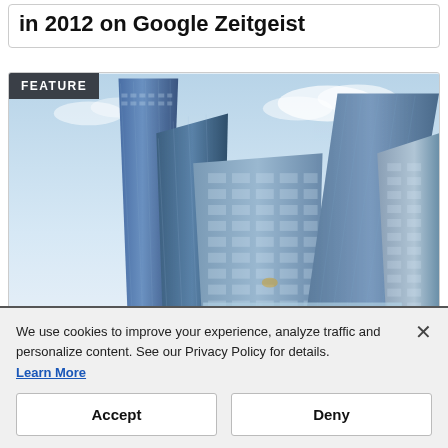in 2012 on Google Zeitgeist
[Figure (photo): FEATURE label overlay on a photo of modern glass skyscrapers viewed from below against a blue sky]
We use cookies to improve your experience, analyze traffic and personalize content. See our Privacy Policy for details.
Learn More
Accept
Deny